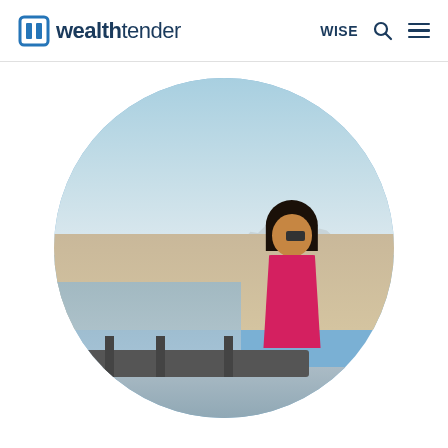wealthtender | WISE
[Figure (photo): Circular profile photo of a woman with dark hair and sunglasses wearing a pink/red tank top, standing on a pier or railing overlooking a beach with a city skyline visible in the background under a hazy blue sky.]